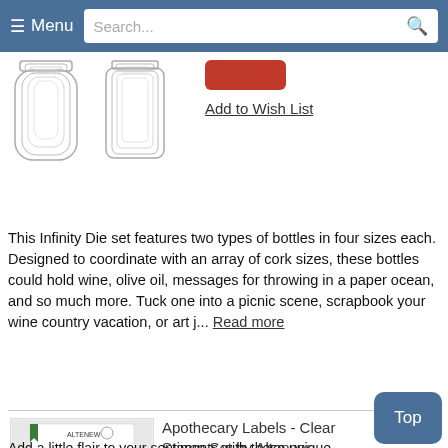☰ Menu  Search...
[Figure (illustration): Bottle die cut shapes - outline illustrations of two bottle types in four sizes each]
Add to Wish List
This Infinity Die set features two types of bottles in four sizes each. Designed to coordinate with an array of cork sizes, these bottles could hold wine, olive oil, messages for throwing in a paper ocean, and so much more. Tuck one into a picnic scene, scrapbook your wine country vacation, or art j... Read more
[Figure (photo): Apothecary Labels Clear Stamp Set product packaging showing various label stamp shapes on black background with ALTENEW branding]
Apothecary Labels - Clear Stamp Set by Altenew
$15.99 Sale $13.58
Add to Cart
Add to Wish List
Add a little flair to your sentiments with these unique